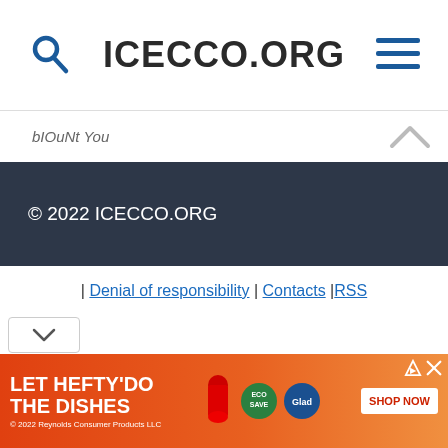ICECCO.ORG
biouNt You
© 2022 ICECCO.ORG
| Denial of responsibility | Contacts |RSS
[Figure (screenshot): LET HEFTY DO THE DISHES advertisement banner, © 2022 Reynolds Consumer Products LLC, with SHOP NOW button]